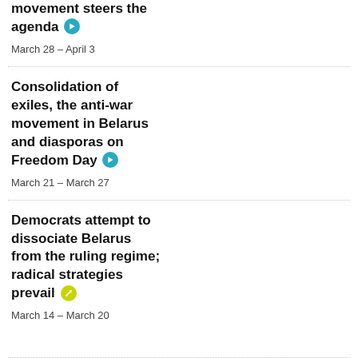movement steers the agenda
March 28 – April 3
Consolidation of exiles, the anti-war movement in Belarus and diasporas on Freedom Day
March 21 – March 27
Democrats attempt to dissociate Belarus from the ruling regime; radical strategies prevail
March 14 – March 20